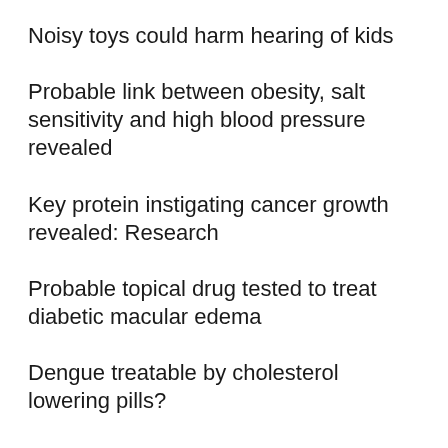Noisy toys could harm hearing of kids
Probable link between obesity, salt sensitivity and high blood pressure revealed
Key protein instigating cancer growth revealed: Research
Probable topical drug tested to treat diabetic macular edema
Dengue treatable by cholesterol lowering pills?
Deficiency of Vitamin B12 key to aging